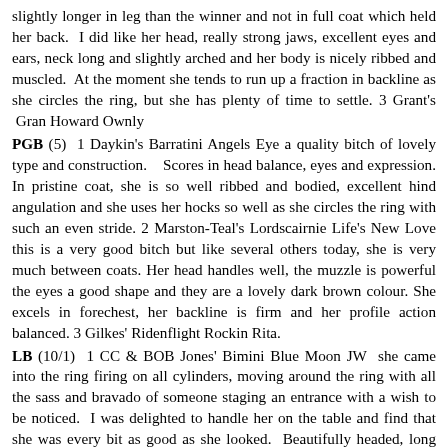slightly longer in leg than the winner and not in full coat which held her back.  I did like her head, really strong jaws, excellent eyes and ears, neck long and slightly arched and her body is nicely ribbed and muscled.  At the moment she tends to run up a fraction in backline as she circles the ring, but she has plenty of time to settle. 3 Grant's  Gran Howard Ownly
PGB (5)  1 Daykin's Barratini Angels Eye a quality bitch of lovely type and construction.    Scores in head balance, eyes and expression. In pristine coat, she is so well ribbed and bodied, excellent hind angulation and she uses her hocks so well as she circles the ring with such an even stride. 2 Marston-Teal's Lordscairnie Life's New Love this is a very good bitch but like several others today, she is very much between coats. Her head handles well, the muzzle is powerful the eyes a good shape and they are a lovely dark brown colour. She excels in forechest, her backline is firm and her profile action balanced. 3 Gilkes' Ridenflight Rockin Rita.
LB (10/1)  1 CC & BOB Jones' Bimini Blue Moon JW  she came into the ring firing on all cylinders, moving around the ring with all the sass and bravado of someone staging an entrance with a wish to be noticed.  I was delighted to handle her on the table and find that she was every bit as good as she looked.  Beautifully headed, long neck, so well bodied and angulated, in full coat and she zoomed around the ring with real style and so soundly. I believe this is her 2nd  CC and wish her well for that vital 3rd.  2  Thorn Andrews'